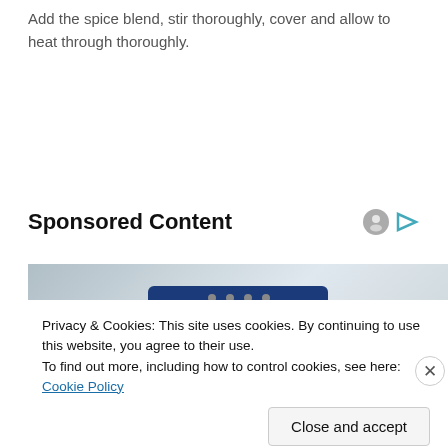Add the spice blend, stir thoroughly, cover and allow to heat through thoroughly.
Sponsored Content
[Figure (photo): Partial view of a blue electronic device against a light grey background]
Privacy & Cookies: This site uses cookies. By continuing to use this website, you agree to their use.
To find out more, including how to control cookies, see here: Cookie Policy
Close and accept